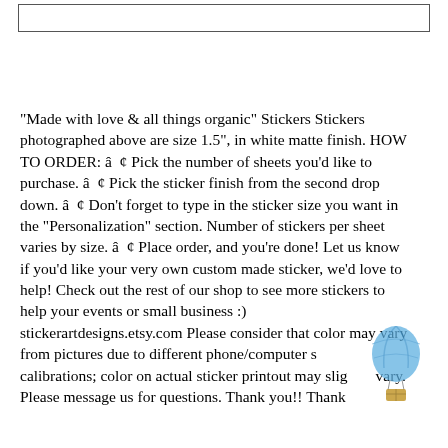[Figure (other): Empty bordered rectangle near top of page]
"Made with love & all things organic" Stickers Stickers photographed above are size 1.5", in white matte finish. HOW TO ORDER: â ¢ Pick the number of sheets you'd like to purchase. â ¢ Pick the sticker finish from the second drop down. â ¢ Don't forget to type in the sticker size you want in the "Personalization" section. Number of stickers per sheet varies by size. â ¢ Place order, and you're done! Let us know if you'd like your very own custom made sticker, we'd love to help! Check out the rest of our shop to see more stickers to help your events or small business :) stickerartdesigns.etsy.com Please consider that color may vary from pictures due to different phone/computer screen calibrations; color on actual sticker printout may slightly vary. Please message us for questions. Thank you!! Thank
[Figure (logo): Corel or hot air balloon watermark logo in blue, bottom right corner]